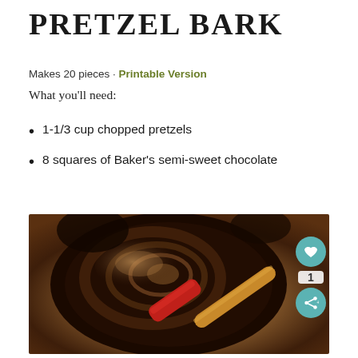PRETZEL BARK
Makes 20 pieces · Printable Version
What you'll need:
1-1/3 cup chopped pretzels
8 squares of Baker's semi-sweet chocolate
[Figure (photo): Melted chocolate being stirred in a bowl with a red and wooden spatula, viewed from above, with a golden-brown background]